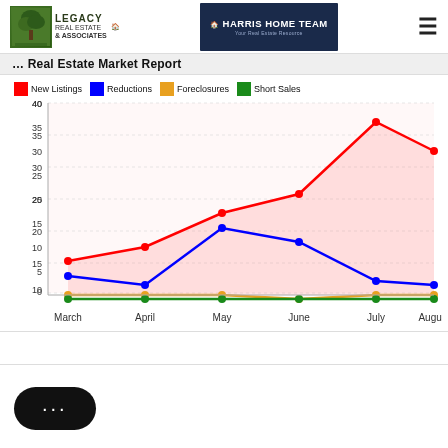[Figure (logo): Legacy Real Estate & Associates logo with tree icon]
[Figure (logo): Harris Home Team logo, dark navy background]
... Real Estate Market Report
[Figure (line-chart): Real Estate Market Report]
[Figure (other): Chat button with ellipsis icon]